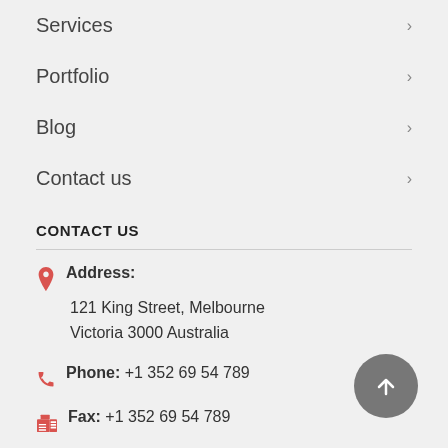Services >
Portfolio >
Blog >
Contact us >
CONTACT US
Address: 121 King Street, Melbourne Victoria 3000 Australia
Phone: +1 352 69 54 789
Fax: +1 352 69 54 789